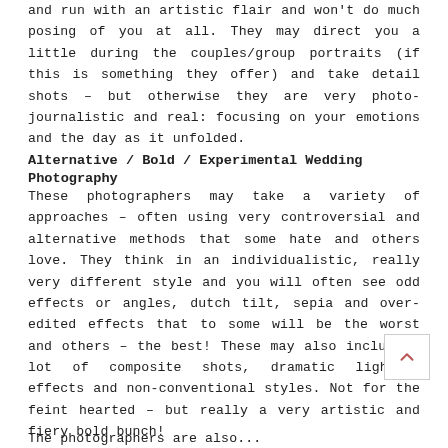and run with an artistic flair and won't do much posing of you at all. They may direct you a little during the couples/group portraits (if this is something they offer) and take detail shots – but otherwise they are very photo-journalistic and real: focusing on your emotions and the day as it unfolded.
Alternative / Bold / Experimental Wedding Photography
These photographers may take a variety of approaches – often using very controversial and alternative methods that some hate and others love. They think in an individualistic, really very different style and you will often see odd effects or angles, dutch tilt, sepia and over-edited effects that to some will be the worst and others – the best! These may also include a lot of composite shots, dramatic lighting effects and non-conventional styles. Not for the feint hearted – but really a very artistic and fiery bold bunch!
The photographers are also...